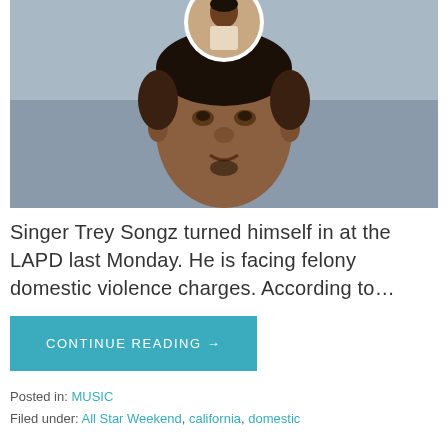[Figure (photo): A mugshot-style photo of singer Trey Songz with a smaller circular inset photo of a woman overlaid at the top center of the image.]
Singer Trey Songz turned himself in at the LAPD last Monday. He is facing felony domestic violence charges. According to…
CONTINUE READING →
Posted in: MUSIC
Filed under: All Star Weekend, california, domestic